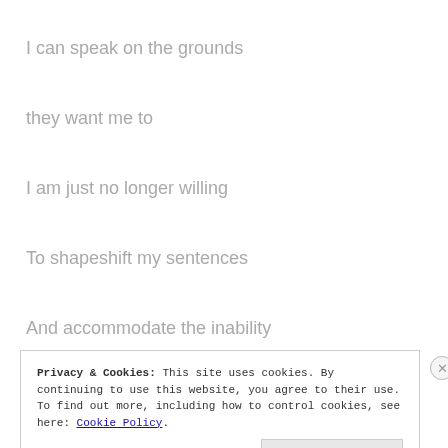I can speak on the grounds
they want me to
I am just no longer willing
To shapeshift my sentences
And accommodate the inability
Privacy & Cookies: This site uses cookies. By continuing to use this website, you agree to their use. To find out more, including how to control cookies, see here: Cookie Policy
Close and accept